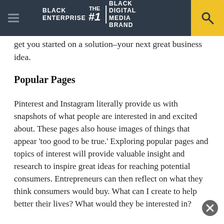BLACK ENTERPRISE THE #1 BLACK DIGITAL MEDIA BRAND
get you started on a solution–your next great business idea.
Popular Pages
Pinterest and Instagram literally provide us with snapshots of what people are interested in and excited about. These pages also house images of things that appear 'too good to be true.' Exploring popular pages and topics of interest will provide valuable insight and research to inspire great ideas for reaching potential consumers. Entrepreneurs can then reflect on what they think consumers would buy. What can I create to help better their lives? What would they be interested in?